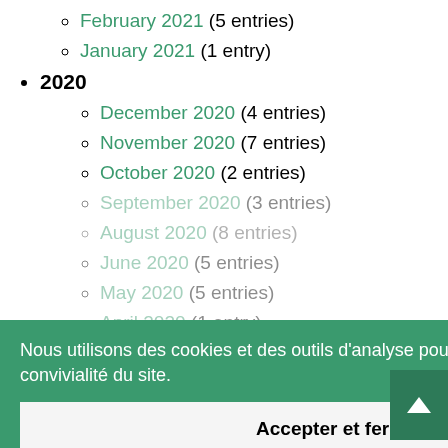February 2021 (5 entries)
January 2021 (1 entry)
2020
December 2020 (4 entries)
November 2020 (7 entries)
October 2020 (2 entries)
September 2020 (3 entries)
August 2020 (8 entries)
June 2020 (5 entries)
May 2020 (5 entries)
April 2020 (1 entry)
March 2020 (4 entries)
Nous utilisons des cookies et des outils d'analyse pour améliorer la convivialité du site.
Accepter et fermer